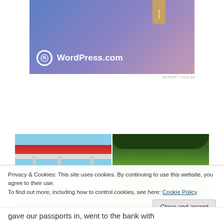[Figure (illustration): WordPress.com advertisement banner with a gradient blue-purple-pink background, a USB drive icon at top, and the WordPress logo with text 'WordPress.com' in white at the bottom left]
REPORT THIS AD
[Figure (photo): Two side-by-side photos: left shows a gas station canopy with red and white structure against a blue sky; right shows a green grass field with trees in the background]
Privacy & Cookies: This site uses cookies. By continuing to use this website, you agree to their use.
To find out more, including how to control cookies, see here: Cookie Policy
Close and accept
gave our passports in, went to the bank with